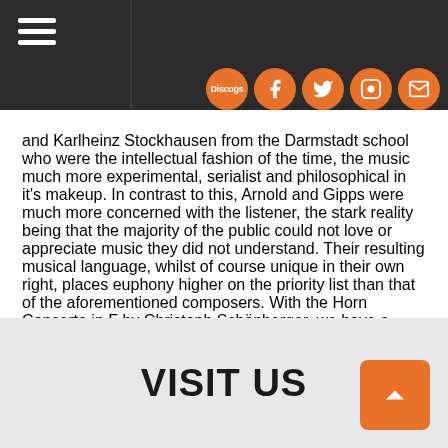Navigation header with hamburger menu and social icons (Discogs, Facebook, Twitter, Instagram, Email)
and Karlheinz Stockhausen from the Darmstadt school who were the intellectual fashion of the time, the music much more experimental, serialist and philosophical in it's makeup. In contrast to this, Arnold and Gipps were much more concerned with the listener, the stark reality being that the majority of the public could not love or appreciate music they did not understand. Their resulting musical language, whilst of course unique in their own right, places euphony higher on the priority list than that of the aforementioned composers. With the Horn Concerto in F by Christoph Schönberger, we have a similar situation for the 21st century. The composer describes his work as being in the neo-romantic style, the structure and harmony of the work traditional in nature with a definitively unique and modern aesthetic. This recording sheds fresh light on works that are in dire need of more performances, as well as highlighting the wonderful potential of the horn as a solo instrument for the 21st century.
VISIT US